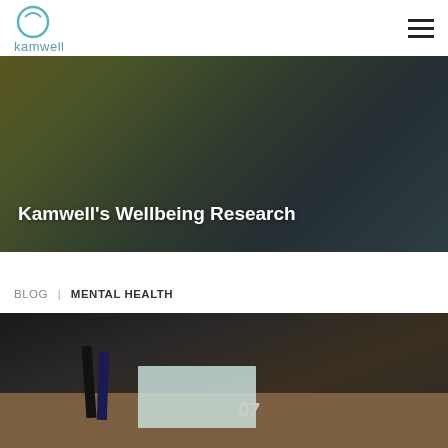kamwell
[Figure (photo): Hero banner photo showing a person in a dark jacket sitting, overlaid with the text 'Kamwell's Wellbeing Research']
Kamwell's Wellbeing Research
BLOG  |  MENTAL HEALTH
[Figure (photo): Photo of a desk with two pens standing upright and a calendar showing number 07]